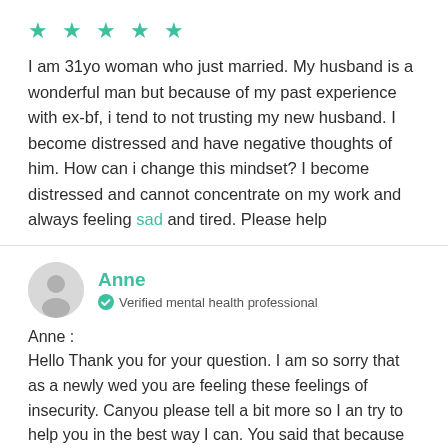[Figure (other): Five teal/green star rating icons]
I am 31yo woman who just married. My husband is a wonderful man but because of my past experience with ex-bf, i tend to not trusting my new husband. I become distressed and have negative thoughts of him. How can i change this mindset? I become distressed and cannot concentrate on my work and always feeling sad and tired. Please help
[Figure (other): Gray circular avatar icon of a person silhouette]
Anne
Verified mental health professional
Anne :
Hello Thank you for your question. I am so sorry that as a newly wed you are feeling these feelings of insecurity. Canyou please tell a bit more so I an try to help you in the best way I can. You said that because of your "past experience with your ex BF you cannot trust your